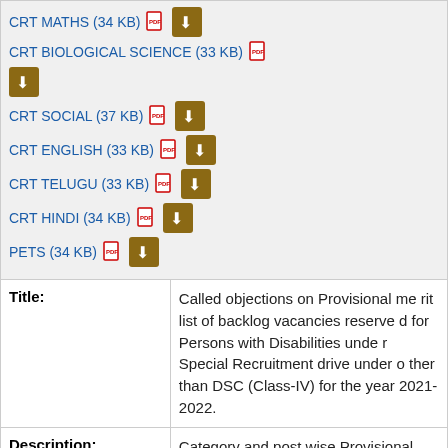CRT MATHS (34 KB)
CRT BIOLOGICAL SCIENCE (33 KB)
CRT SOCIAL (37 KB)
CRT ENGLISH (33 KB)
CRT TELUGU (33 KB)
CRT HINDI (34 KB)
PETS (34 KB)
Title: Called objections on Provisional merit list of backlog vacancies reserved for Persons with Disabilities under Special Recruitment drive under other than DSC (Class-IV) for the year 2021-2022.
Description: Category and post wise Provisional merit list of backlog vacancies reserved for Persons with Disabilities under Special Recruitment drive under other than DSC (Class-...